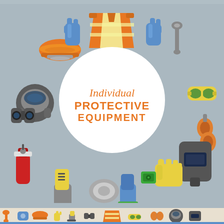[Figure (illustration): Circular arrangement of colorful illustrated personal protective equipment (PPE) items including hard hat, safety vest, gloves, boots, respirator, goggles, ear muffs, welding mask, and more. A large white circle in the center contains the text 'Individual PROTECTIVE EQUIPMENT' in orange. Background is grey-blue.]
Individual PROTECTIVE EQUIPMENT
[Figure (illustration): Bottom strip showing small illustrated PPE icons in a row on a light beige/cream background.]